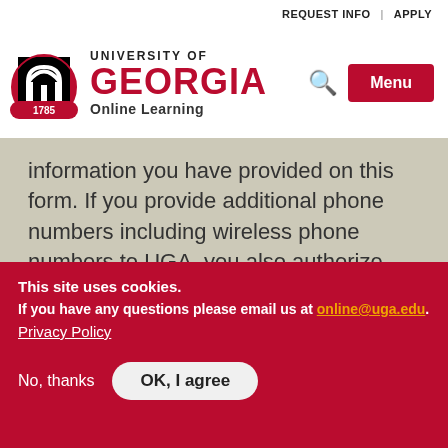REQUEST INFO | APPLY
[Figure (logo): University of Georgia Online Learning logo with arch icon and text]
information you have provided on this form. If you provide additional phone numbers including wireless phone numbers to UGA, you also authorize UGA to use those numbers to contact you via any of the aforementioned methods. If you do not want your information stored,
This site uses cookies.
If you have any questions please email us at online@uga.edu.
Privacy Policy
No, thanks    OK, I agree